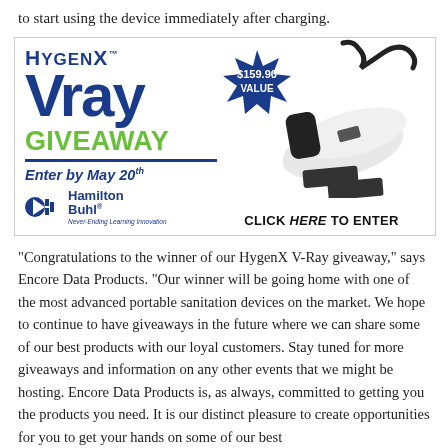to start using the device immediately after charging.
[Figure (infographic): HygenX Vray Giveaway advertisement banner. Features HygenX and Vray logos in blue, GIVEAWAY in green, Enter by May 20th text, Hamilton Buhl logo, a $159.90 VALUE star badge, a photo of the Vray device, and CLICK HERE TO ENTER text.]
"Congratulations to the winner of our HygenX V-Ray giveaway," says Encore Data Products. "Our winner will be going home with one of the most advanced portable sanitation devices on the market. We hope to continue to have giveaways in the future where we can share some of our best products with our loyal customers. Stay tuned for more giveaways and information on any other events that we might be hosting. Encore Data Products is, as always, committed to getting you the products you need. It is our distinct pleasure to create opportunities for you to get your hands on some of our best